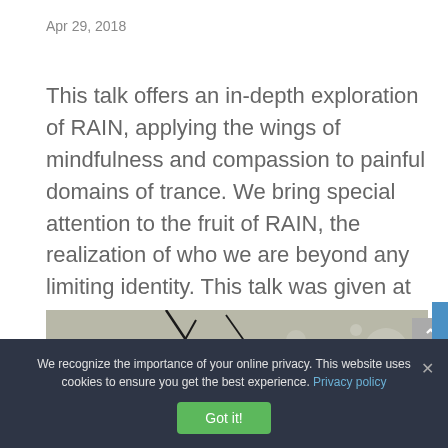Apr 29, 2018
This talk offers an in-depth exploration of RAIN, applying the wings of mindfulness and compassion to painful domains of trance. We bring special attention to the fruit of RAIN, the realization of who we are beyond any limiting identity. This talk was given at the...
[Figure (photo): Partial nature photograph showing yellow-orange plant/flower with dark branches against a grey background with bokeh light effects]
We recognize the importance of your online privacy. This website uses cookies to ensure you get the best experience. Privacy policy
Got it!